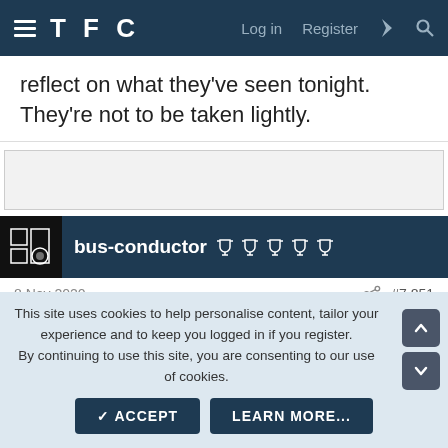TFC  Log in  Register
reflect on what they've seen tonight. They're not to be taken lightly.
[Figure (other): Empty gray advertisement/placeholder box]
bus-conductor [5 trophy icons]
8 Nov 2020  #7,851
Oh Ibra you melon
This site uses cookies to help personalise content, tailor your experience and to keep you logged in if you register.
By continuing to use this site, you are consenting to our use of cookies.
ACCEPT  LEARN MORE...